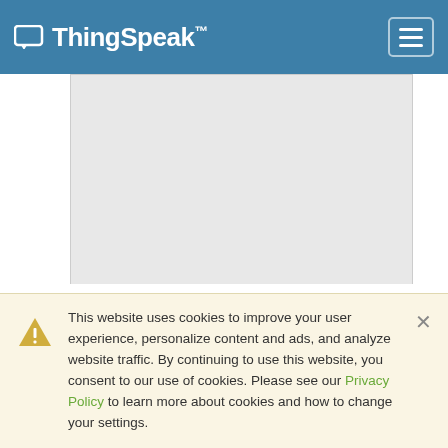ThingSpeak
[Figure (screenshot): Gray placeholder content area]
Channel Video
[Figure (screenshot): Black video player area]
This website uses cookies to improve your user experience, personalize content and ads, and analyze website traffic. By continuing to use this website, you consent to our use of cookies. Please see our Privacy Policy to learn more about cookies and how to change your settings.